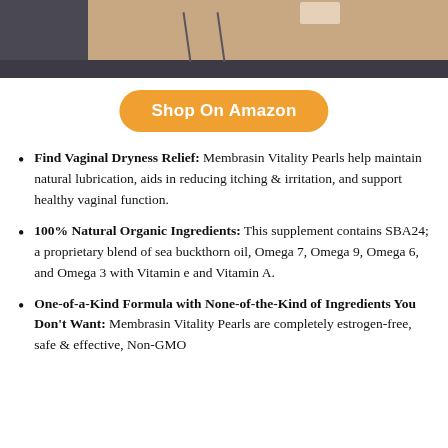[Figure (photo): Partial product image on dark grey background — top portion of a supplement bottle or box with a beige/skin-toned image visible]
Shop On Amazon
Find Vaginal Dryness Relief: Membrasin Vitality Pearls help maintain natural lubrication, aids in reducing itching & irritation, and support healthy vaginal function.
100% Natural Organic Ingredients: This supplement contains SBA24; a proprietary blend of sea buckthorn oil, Omega 7, Omega 9, Omega 6, and Omega 3 with Vitamin e and Vitamin A.
One-of-a-Kind Formula with None-of-the-Kind of Ingredients You Don't Want: Membrasin Vitality Pearls are completely estrogen-free, safe & effective, Non-GMO